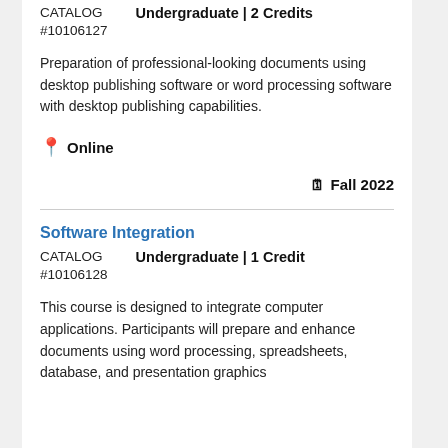CATALOG #10106127   Undergraduate | 2 Credits
Preparation of professional-looking documents using desktop publishing software or word processing software with desktop publishing capabilities.
📍 Online
🗓 Fall 2022
Software Integration
CATALOG #10106128   Undergraduate | 1 Credit
This course is designed to integrate computer applications. Participants will prepare and enhance documents using word processing, spreadsheets, database, and presentation graphics